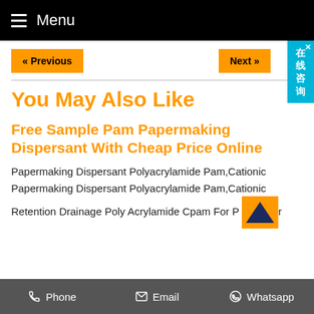Menu
« Previous   Next »
You May Also Like
Free Sample Pam Papermaking Dispersant With Cheap Price Online
Papermaking Dispersant Polyacrylamide Pam,Cationic Papermaking Dispersant Polyacrylamide Pam,Cationic Retention Drainage Poly Acrylamide Cpam For P...r
Phone   Email   Whatsapp